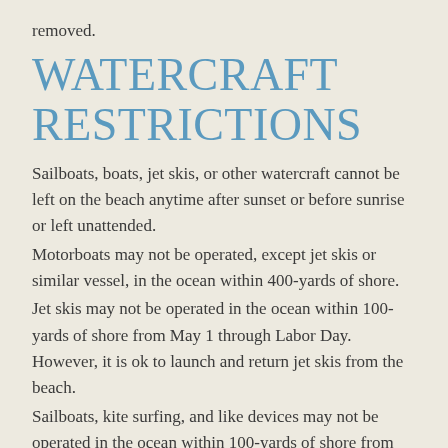removed.
WATERCRAFT RESTRICTIONS
Sailboats, boats, jet skis, or other watercraft cannot be left on the beach anytime after sunset or before sunrise or left unattended.
Motorboats may not be operated, except jet skis or similar vessel, in the ocean within 400-yards of shore.
Jet skis may not be operated in the ocean within 100-yards of shore from May 1 through Labor Day. However, it is ok to launch and return jet skis from the beach.
Sailboats, kite surfing, and like devices may not be operated in the ocean within 100-yards of shore from May 1 through Labor Day. However, it is ok to launch and return such devices from the beach.
BEACH WHEELCHAIRS